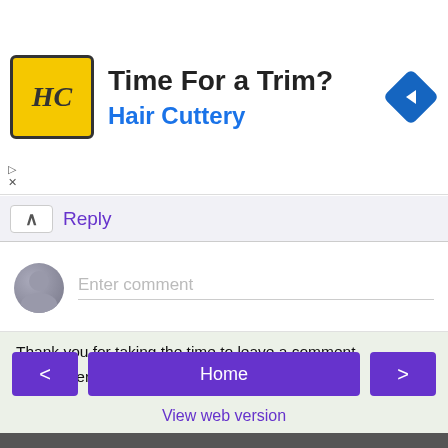[Figure (infographic): Hair Cuttery advertisement banner with yellow logo showing 'HC', title 'Time For a Trim?', subtitle 'Hair Cuttery' in blue, and a blue diamond navigation icon on the right]
Reply
[Figure (screenshot): Comment input area with avatar icon and 'Enter comment' placeholder text]
Thank you for taking the time to leave a comment.
I read every one and try my best to reply!
Home
View web version